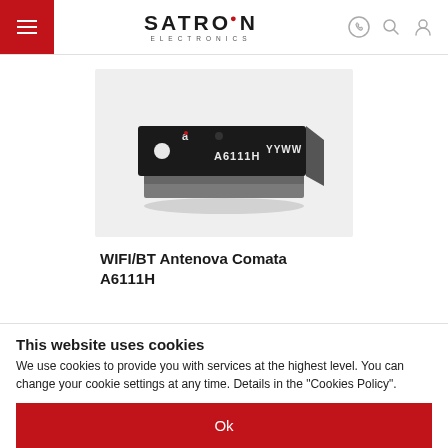SATRON ELECTRONICS
[Figure (photo): A small rectangular black PCB module labeled 'A6111H' with 'YYWW' and the letter 'a' logo on top, shown at a slight angle against a light gray background. This is a WIFI/BT Antenova Comata A6111H antenna module.]
WIFI/BT Antenova Comata A6111H
This website uses cookies
We use cookies to provide you with services at the highest level. You can change your cookie settings at any time. Details in the "Cookies Policy".
Ok